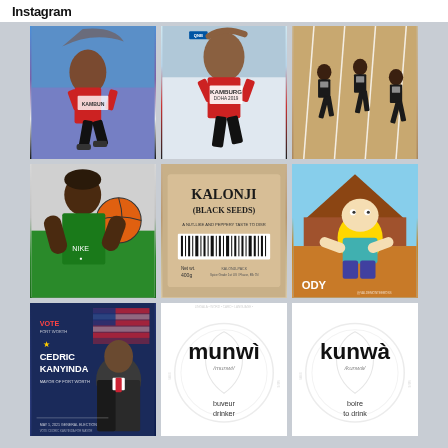Instagram
[Figure (photo): Female athlete runner in red outfit with bib number, running on track with blue/purple stadium background]
[Figure (photo): Female runner wearing QNB-sponsored red outfit with bib reading KAMBUNGA, at DOHA 2019 event]
[Figure (photo): Aerial view of three sprinters running on red track lanes]
[Figure (photo): Young Black man holding basketball wearing green Nike jersey]
[Figure (photo): Close-up of KALONJI (BLACK SEEDS) product label with barcode, described as having a nut-like and peppery taste]
[Figure (illustration): Homer Simpson cartoon character animated meme with text ODY and watermark @VALDEMONTEEBOSS]
[Figure (photo): Campaign poster for CEDRIC KANYINDA for Mayor of Fort Worth, with VOTE text in red, star, and election date MAY 1, 2021 GENERAL ELECTION]
[Figure (infographic): Lingala language card showing 'munwì' (mouth/buveur/drinker) with circular watermark stamp design on white background]
[Figure (infographic): Lingala language card showing 'kunwà' (to drink/boire/to drink) with circular watermark stamp design on white background]